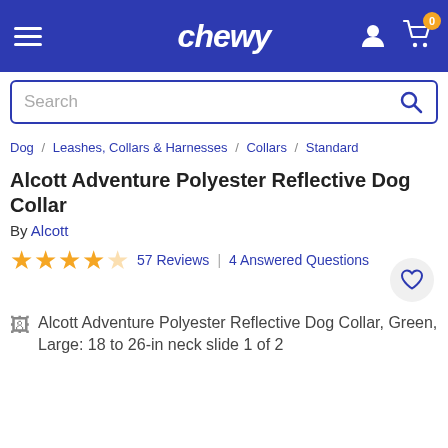chewy
Search
Dog / Leashes, Collars & Harnesses / Collars / Standard
Alcott Adventure Polyester Reflective Dog Collar
By Alcott
57 Reviews | 4 Answered Questions
[Figure (other): Broken image placeholder for Alcott Adventure Polyester Reflective Dog Collar, Green, Large: 18 to 26-in neck slide 1 of 2]